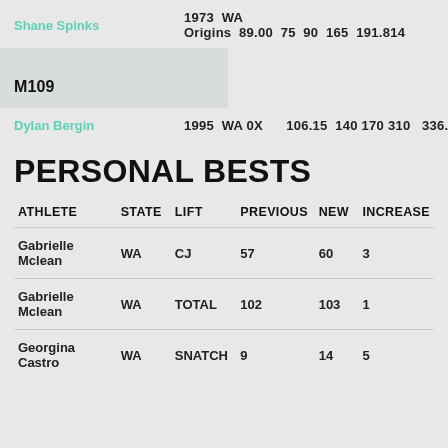Shane Spinks  1973  WA Origins  89.00  75  90  165  191.814
M109
Dylan Bergin  1995  WA  0X  106.15  140  170  310  336.682
PERSONAL BESTS
| ATHLETE | STATE | LIFT | PREVIOUS | NEW | INCREASE |
| --- | --- | --- | --- | --- | --- |
| Gabrielle Mclean | WA | CJ | 57 | 60 | 3 |
| Gabrielle Mclean | WA | TOTAL | 102 | 103 | 1 |
| Georgina Castro | WA | SNATCH | 9 | 14 | 5 |